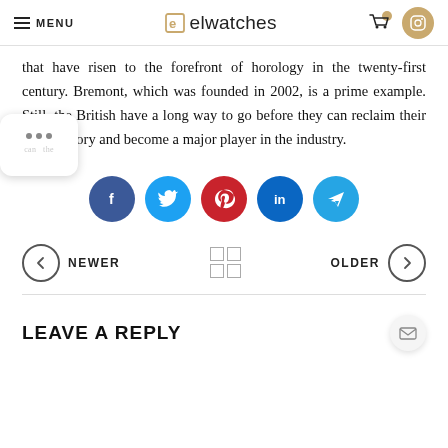MENU | elwatches
that have risen to the forefront of horology in the twenty-first century. Bremont, which was founded in 2002, is a prime example. Still, the British have a long way to go before they can reclaim their former glory and become a major player in the industry.
[Figure (infographic): Social sharing icons row: Facebook (dark blue), Twitter (light blue), Pinterest (red), LinkedIn (dark blue), Telegram (light blue)]
NEWER | grid icon | OLDER
LEAVE A REPLY